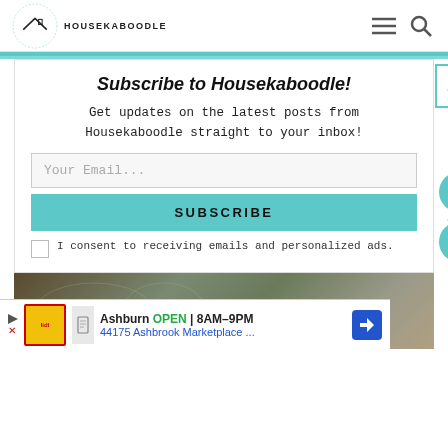HOUSEKABOODLE
Subscribe to Housekaboodle!
Get updates on the latest posts from Housekaboodle straight to your inbox!
Your Email...
SUBSCRIBE
I consent to receiving emails and personalized ads.
[Figure (photo): Partial view of wreath/floral arrangement with dark natural materials and white flowers]
118
[Figure (other): Advertisement banner: Ashburn OPEN 8AM-9PM, 44175 Ashbrook Marketplace...]